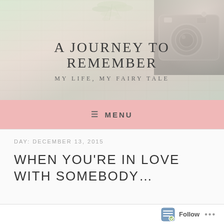[Figure (photo): Blog header image showing a soft-focus background with wooden planks, green foliage at top center, and a vintage camera in the top-right corner. Overlaid text reads 'A JOURNEY TO REMEMBER' and 'MY LIFE, MY FAIRY TALE'.]
A JOURNEY TO REMEMBER
MY LIFE, MY FAIRY TALE
≡ MENU
DAY: DECEMBER 13, 2015
WHEN YOU'RE IN LOVE WITH SOMEBODY…
Follow ...